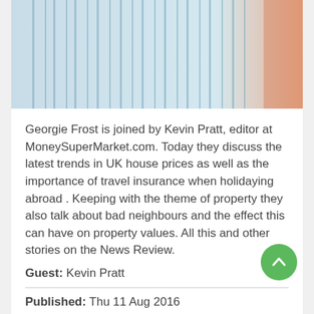[Figure (photo): Close-up photo of blue and white striped fabric/shirt with a reddish-orange element at the right edge]
Georgie Frost is joined by Kevin Pratt, editor at MoneySuperMarket.com. Today they discuss the latest trends in UK house prices as well as the importance of travel insurance when holidaying abroad . Keeping with the theme of property they also talk about bad neighbours and the effect this can have on property values. All this and other stories on the News Review.
Guest: Kevin Pratt
Published: Thu 11 Aug 2016
Listen
Share Podcast